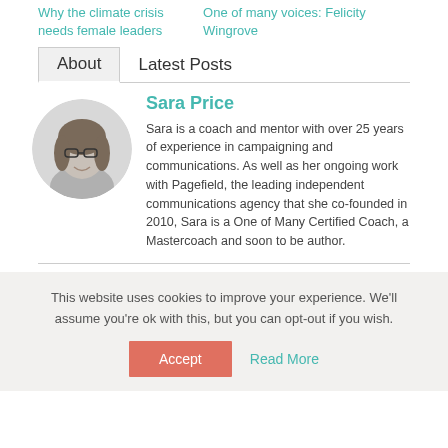Why the climate crisis needs female leaders
One of many voices: Felicity Wingrove
About   Latest Posts
Sara Price
[Figure (photo): Black and white circular portrait photo of Sara Price, a woman with glasses and long hair, smiling]
Sara is a coach and mentor with over 25 years of experience in campaigning and communications. As well as her ongoing work with Pagefield, the leading independent communications agency that she co-founded in 2010, Sara is a One of Many Certified Coach, a Mastercoach and soon to be author.
This website uses cookies to improve your experience. We'll assume you're ok with this, but you can opt-out if you wish.
Accept
Read More